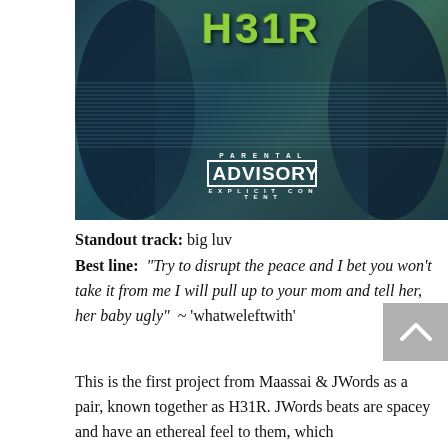[Figure (illustration): Album cover art for H31R with dark blue-green tones, silhouetted figures on left and right, graffiti-style H31R text at top in green/yellow, with a Parental Advisory Explicit Content label in the lower center]
Standout track: big luv
Best line: "Try to disrupt the peace and I bet you won't take it from me I will pull up to your mom and tell her, her baby ugly" ~ 'whatweleftwith'
This is the first project from Maassai & JWords as a pair, known together as H31R. JWords beats are spacey and have an ethereal feel to them, which